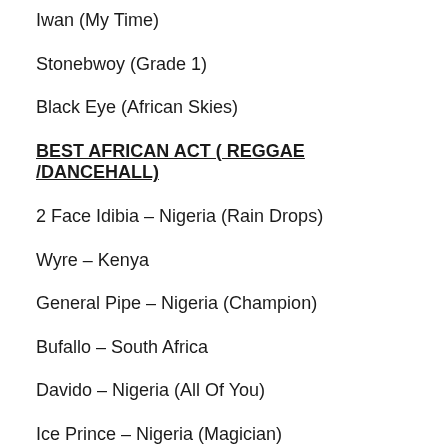Iwan (My Time)
Stonebwoy (Grade 1)
Black Eye (African Skies)
BEST AFRICAN ACT ( REGGAE /DANCEHALL)
2 Face Idibia – Nigeria (Rain Drops)
Wyre – Kenya
General Pipe – Nigeria  (Champion)
Bufallo – South Africa
Davido – Nigeria (All Of You)
Ice Prince – Nigeria (Magician)